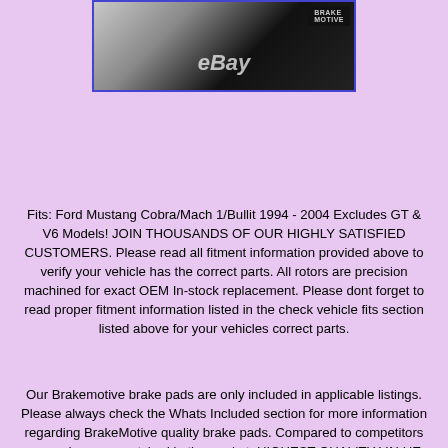[Figure (photo): Product photo showing BrakeMotive brake rotors/pads with eBay watermark overlay, bordered in blue]
Fits: Ford Mustang Cobra/Mach 1/Bullit 1994 - 2004 Excludes GT & V6 Models! JOIN THOUSANDS OF OUR HIGHLY SATISFIED CUSTOMERS. Please read all fitment information provided above to verify your vehicle has the correct parts. All rotors are precision machined for exact OEM In-stock replacement. Please dont forget to read proper fitment information listed in the check vehicle fits section listed above for your vehicles correct parts.
Our Brakemotive brake pads are only included in applicable listings. Please always check the Whats Included section for more information regarding BrakeMotive quality brake pads. Compared to competitors our pads are unmatched in the market. HIGHEST QUALITY VALUE FOR YOUR BUCK. The BrakeMotive brake pads are of highest quality and prevent